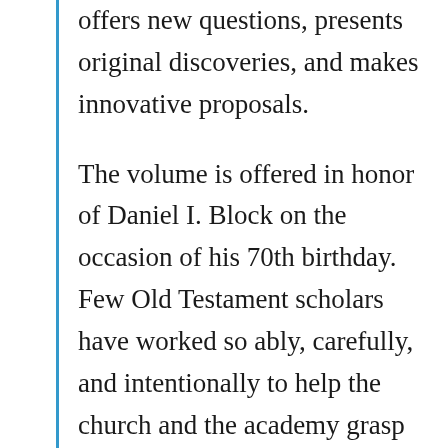offers new questions, presents original discoveries, and makes innovative proposals.
The volume is offered in honor of Daniel I. Block on the occasion of his 70th birthday. Few Old Testament scholars have worked so ably, carefully, and intentionally to help the church and the academy grasp the message of Deuteronomy. Block’s own studies always exhibit an admirable balance of exegetical rigor, literary and